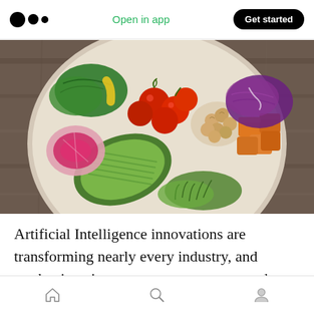Medium — Open in app | Get started
[Figure (photo): Overhead photo of a colorful Buddha bowl / salad bowl filled with avocado slices, cherry tomatoes, chickpeas, sweet potato cubes, purple cabbage, green leafy vegetables, watermelon radish slices, and microgreens, placed on a wooden table.]
Artificial Intelligence innovations are transforming nearly every industry, and market in existence to one extent or another, or else will be in the near future. It's already starting to
Home | Search | Profile